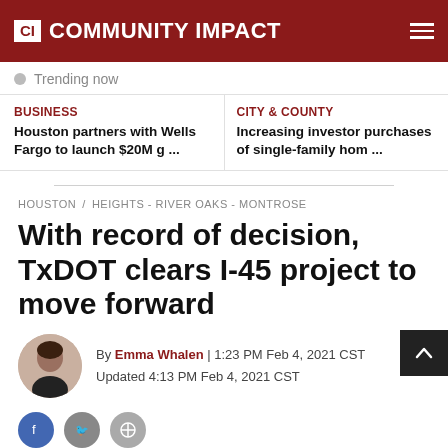CI COMMUNITY IMPACT
Trending now
BUSINESS
Houston partners with Wells Fargo to launch $20M g ...
CITY & COUNTY
Increasing investor purchases of single-family hom ...
HOUSTON / HEIGHTS - RIVER OAKS - MONTROSE
With record of decision, TxDOT clears I-45 project to move forward
By Emma Whalen | 1:23 PM Feb 4, 2021 CST
Updated 4:13 PM Feb 4, 2021 CST